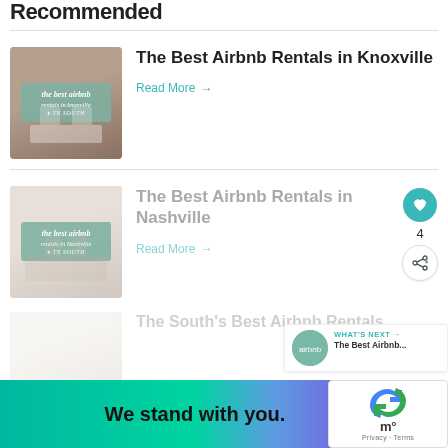Recommended
[Figure (photo): Thumbnail image for The Best Airbnb Rentals in Knoxville article showing a cozy interior with brick wall and white fireplace mantle]
The Best Airbnb Rentals in Knoxville
Read More →
[Figure (photo): Thumbnail image for The Best Airbnb Rentals in Nashville article showing a light interior]
The Best Airbnb Rentals in Nashville
Read More →
[Figure (photo): Thumbnail image for The South's Best Airbnb Rentals article (partially visible)]
The South's Best Airbnb Rentals
WHAT'S NEXT → The Best Airbnb...
[Figure (infographic): Ad banner reading 'We stand with you.' with gradient green to purple background]